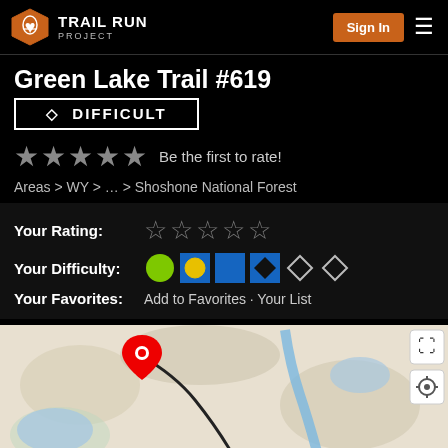Trail Run Project — Sign In
Green Lake Trail #619
DIFFICULT
★★★★★ Be the first to rate!
Areas > WY > ... > Shoshone National Forest
Your Rating: ☆☆☆☆☆
Your Difficulty: [green circle][blue circle][blue square][black diamond][white diamond][white diamond]
Your Favorites: Add to Favorites · Your List
[Figure (map): Map showing trail route for Green Lake Trail #619 in Shoshone National Forest with a red marker pin and blue trail line overlay]